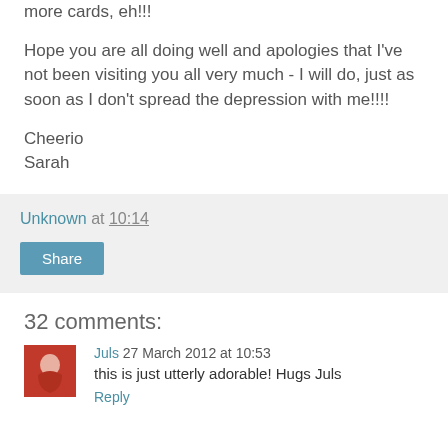more cards, eh!!!
Hope you are all doing well and apologies that I've not been visiting you all very much - I will do, just as soon as I don't spread the depression with me!!!!
Cheerio
Sarah
Unknown at 10:14
Share
32 comments:
Juls 27 March 2012 at 10:53
this is just utterly adorable! Hugs Juls
Reply